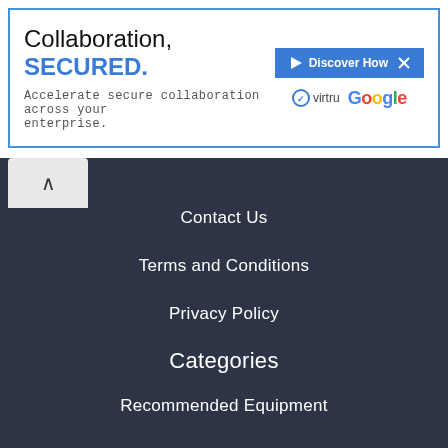[Figure (screenshot): Advertisement banner: 'Collaboration, SECURED.' with subtitle 'Accelerate secure collaboration across your enterprise.' and a 'Discover How' button, Virtru and Google logos, with close and play icons in top right corner.]
Contact Us
Terms and Conditions
Privacy Policy
Categories
Recommended Equipment
Guides
FDM Printing
Resin Printing